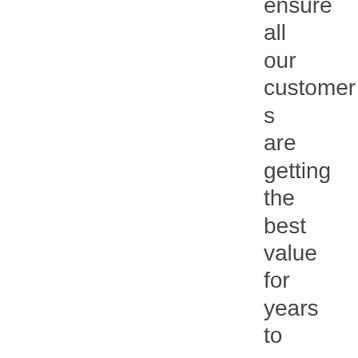ensure all our customers are getting the best value for years to come at an unbeatable price.